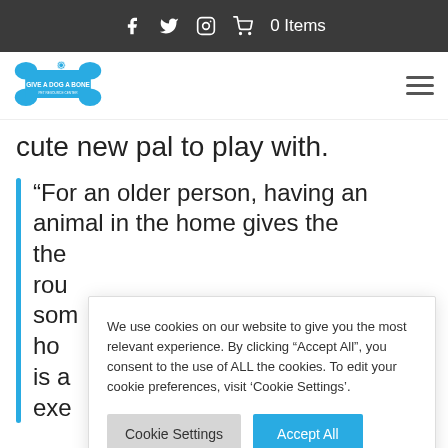f  twitter  instagram  cart  0 Items
[Figure (logo): Give a Dog a Bone logo — blue bone shape with white text]
cute new pal to play with.
“For an older person, having an animal in the home gives the [them] the [them] rou[tine] som[ething] ho[me] is a exe[rcise]
We use cookies on our website to give you the most relevant experience. By clicking “Accept All”, you consent to the use of ALL the cookies. To edit your cookie preferences, visit ‘Cookie Settings’.